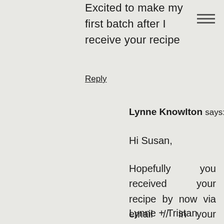Excited to make my first batch after I receive your recipe
Reply
Lynne Knowlton says:
Hi Susan,
Hopefully you received your recipe by now via email // in your inbox. Enjoy and cheers!!
Lynne + Tristan